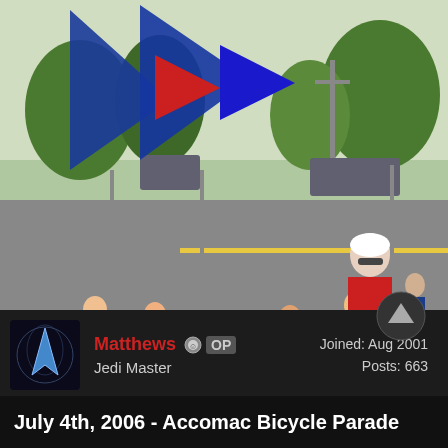[Figure (photo): Outdoor parade scene with people marching along a road carrying large blue state flags and other colorful flags. Children and adults of various ages participate. Trees and parked cars visible in background. An elderly woman in a red jacket is prominent in the foreground right.]
Matthews OP
Jedi Master
Joined: Aug 2001
Posts: 663
July 4th, 2006 - Accomac Bicycle Parade